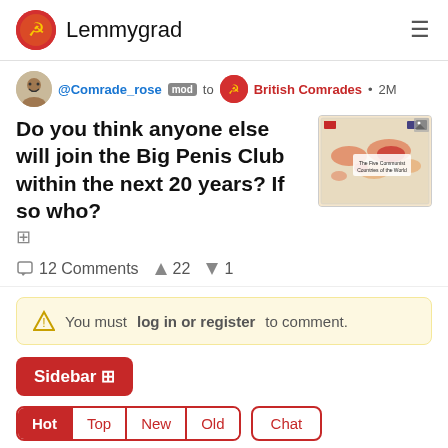Lemmygrad
@Comrade_rose mod to British Comrades • 2M
Do you think anyone else will join the Big Penis Club within the next 20 years? If so who?
[Figure (map): Map titled 'The Five Communist Countries of the World' showing communist countries highlighted in red/orange on a world map]
💬 12 Comments  ↑ 22  ↓ 1
⚠ You must log in or register to comment.
Sidebar ⊞
Hot  Top  New  Old  Chat
@Rafael_Luisi banned  9 • 2M